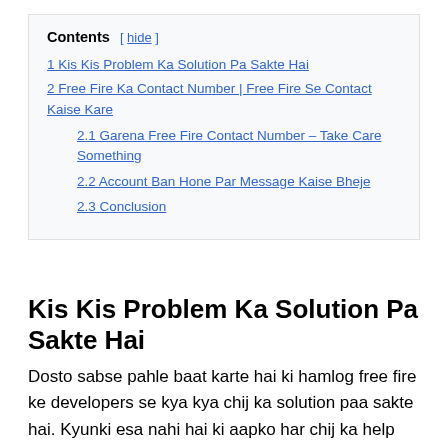Contents [ hide ]
1 Kis Kis Problem Ka Solution Pa Sakte Hai
2 Free Fire Ka Contact Number | Free Fire Se Contact Kaise Kare
2.1 Garena Free Fire Contact Number – Take Care Something
2.2 Account Ban Hone Par Message Kaise Bheje
2.3 Conclusion
Kis Kis Problem Ka Solution Pa Sakte Hai
Dosto sabse pahle baat karte hai ki hamlog free fire ke developers se kya kya chij ka solution paa sakte hai. Kyunki esa nahi hai ki aapko har chij ka help free fire ke developers se milega. Lekin wo chij ka help aakp jarur milega jo aapke